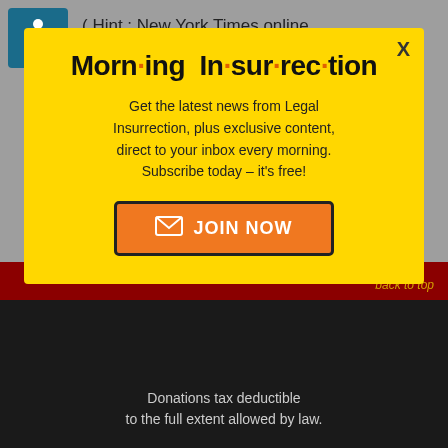[Figure (illustration): Accessibility wheelchair icon in teal/blue square]
( Hint : New York Times online newspaper. )
Apologies, if you are just being
[Figure (screenshot): Modal popup with yellow background. Title: Morn·ing In·sur·rec·tion. Body: Get the latest news from Legal Insurrection, plus exclusive content, direct to your inbox every morning. Subscribe today – it's free! Button: JOIN NOW. Close X button top right.]
Donations tax deductible to the full extent allowed by law.